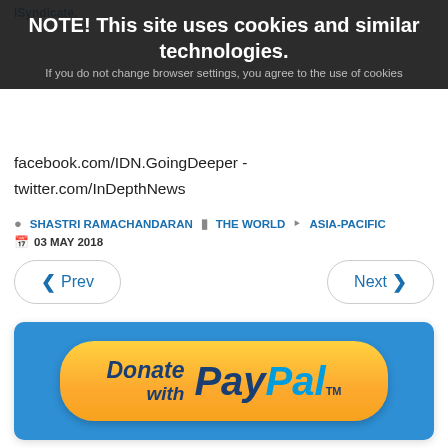NOTE! This site uses cookies and similar technologies. If you do not change browser settings, you agree to the use of cookies
facebook.com/IDN.GoingDeeper - twitter.com/InDepthNews
SHASTRI RAMACHANDARAN   THE WORLD   ASIA-PACIFIC   03 MAY 2018
[Figure (screenshot): Navigation buttons: Prev and Next]
[Figure (illustration): Donate with PayPal button on blue background]